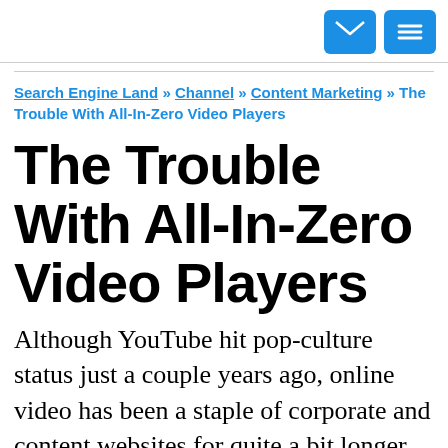[navigation icons: email, menu]
Search Engine Land » Channel » Content Marketing » The Trouble With All-In-Zero Video Players
The Trouble With All-In-Zero Video Players
Although YouTube hit pop-culture status just a couple years ago, online video has been a staple of corporate and content websites for quite a bit longer. In that